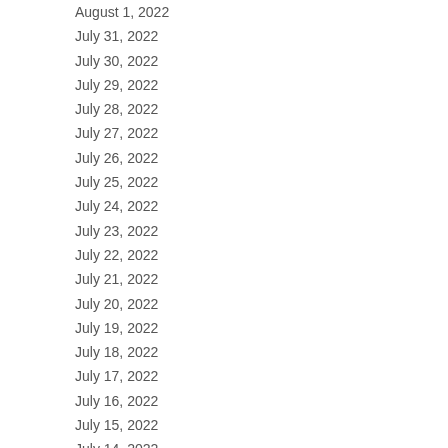| Date | Value |
| --- | --- |
| August 1, 2022 | 8 |
| July 31, 2022 | 7 |
| July 30, 2022 | 7 |
| July 29, 2022 | 12 |
| July 28, 2022 | 12 |
| July 27, 2022 | 15 |
| July 26, 2022 | 11 |
| July 25, 2022 | 17 |
| July 24, 2022 | 16 |
| July 23, 2022 | 13 |
| July 22, 2022 | 13 |
| July 21, 2022 | 17 |
| July 20, 2022 | 7 |
| July 19, 2022 | 0 |
| July 18, 2022 | 8 |
| July 17, 2022 | 5 |
| July 16, 2022 | 7 |
| July 15, 2022 | 13 |
| July 14, 2022 | 12 |
| July 13, 2022 | 19 |
| July 12, 2022 | 10 |
| July 11, 2022 | 14 |
| July 10, 2022 | 14 |
| July 9, 2022 |  |